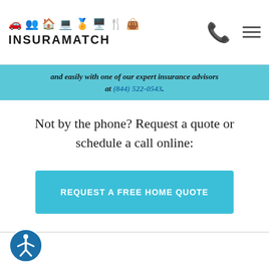INSURAMATCH
and easily with one of our expert insurance advisors at (844) 522-0543.
Not by the phone? Request a quote or schedule a call online:
REQUEST A FREE HOME QUOTE